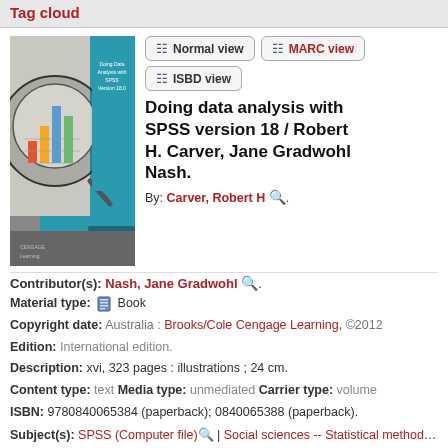Tag cloud
[Figure (photo): Book cover of 'Doing Data Analysis with SPSS Version 18.0' showing a magnifying glass over a bar chart on a teal cover]
Normal view | MARC view | ISBD view (view buttons)
Doing data analysis with SPSS version 18 / Robert H. Carver, Jane Gradwohl Nash.
By: Carver, Robert H 🔍.
Contributor(s): Nash, Jane Gradwohl 🔍.
Material type: Book
Copyright date: Australia : Brooks/Cole Cengage Learning, ©2012
Edition: International edition.
Description: xvi, 323 pages : illustrations ; 24 cm.
Content type: text Media type: unmediated Carrier type: volume
ISBN: 9780840065384 (paperback); 0840065388 (paperback).
Subject(s): SPSS (Computer file) | Social sciences -- Statistical methods --